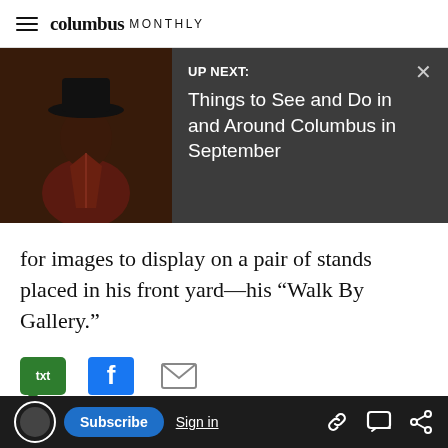columbus MONTHLY
[Figure (screenshot): UP NEXT banner with thumbnail image of a person wearing a black hat. Dark overlay with text: UP NEXT: Things to See and Do in and Around Columbus in September. Close X button in top right.]
for images to display on a pair of stands placed in his front yard—his “Walk By Gallery.”
[Figure (infographic): Share buttons row: green txt/SMS button, blue Facebook button, gray email envelope button]
Tabùla Feed
AD CONTENT
[Figure (photo): Bottom portion of an advertisement image showing a light bulb base on a tan/beige background]
[Figure (infographic): Bottom navigation bar with circle icon, Subscribe button, Sign in button, and share icons (link, comment, share)]